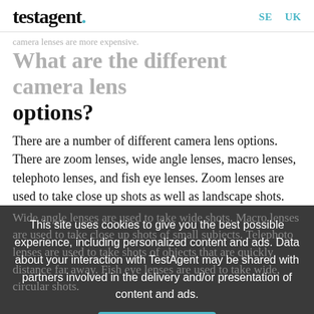testagent. SE UK
camera lenses are more expensive.
What are the different camera lens options?
There are a number of different camera lens options. There are zoom lenses, wide angle lenses, macro lenses, telephoto lenses, and fish eye lenses. Zoom lenses are used to take close up shots as well as landscape shots.
Wide angle lenses are used to take wide shots. Macro lenses are used to take close up shots of small subjects. Telephoto lenses are used to take shots of objects that are quickly distance far away. Fish eye lenses are used to take wide, circular shots.
[Figure (screenshot): Cookie consent overlay with text: This site uses cookies to give you the best possible experience, including personalized content and ads. Data about your interaction with TestAgent may be shared with partners involved in the delivery and/or presentation of content and ads. With an I Agree button.]
What are camera lens filters?
Camera lens filters are used to protect the lens of the camera.